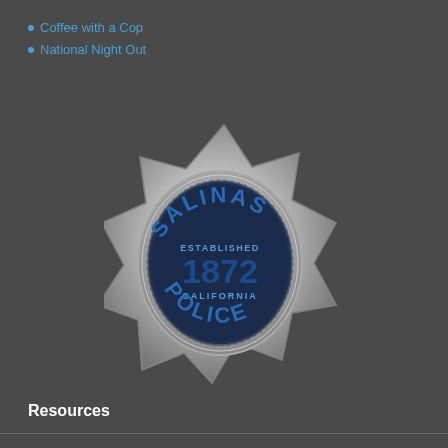Coffee with a Cop
National Night Out
[Figure (logo): Salinas Police Department badge - a seven-pointed silver star badge with blue text reading SALINAS POLICE, ESTABLISHED 1872, CALIFORNIA]
Resources